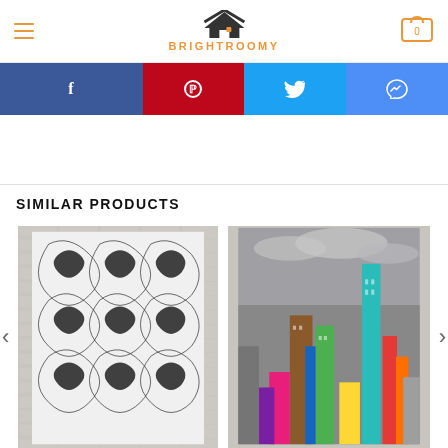[Figure (logo): BrightRoomy logo with house/chevron icon above text BRIGHTROOMY in orange]
[Figure (infographic): Social share buttons row: Facebook (dark blue), Pinterest (red), Twitter (light blue), Messenger (blue)]
SIMILAR PRODUCTS
[Figure (photo): Black and white ornate floral/swirl pattern wallpaper product shown on a brick wall background]
[Figure (photo): Colorful city skyline wallpaper with colored skyscrapers on grayscale background shown on brick wall]